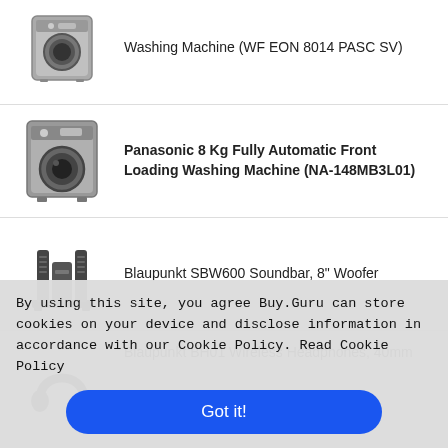Washing Machine (WF EON 8014 PASC SV)
Panasonic 8 Kg Fully Automatic Front Loading Washing Machine (NA-148MB3L01)
Blaupunkt SBW600 Soundbar, 8" Woofer
Blaupunkt BH01 Wireless Headphones, 40mm
By using this site, you agree Buy.Guru can store cookies on your device and disclose information in accordance with our Cookie Policy. Read Cookie Policy
Got it!